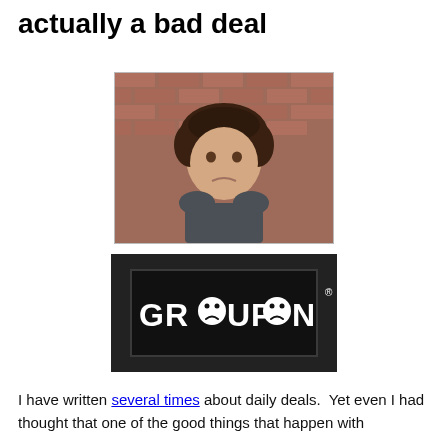actually a bad deal
[Figure (photo): A young man with curly dark hair making a pouty/sad face, standing in front of a brick wall]
[Figure (logo): Groupon logo on dark background with sad-face emoticons replacing the letter O's]
I have written several times about daily deals.  Yet even I had thought that one of the good things that happen with